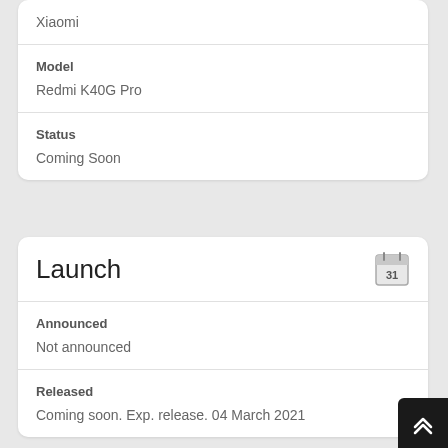Xiaomi
| Model | Redmi K40G Pro |
| Status | Coming Soon |
Launch
| Announced | Not announced |
| Released | Coming soon. Exp. release. 04 March 2021 |